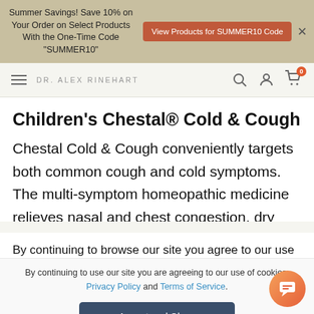Summer Savings! Save 10% on Your Order on Select Products With the One-Time Code "SUMMER10" | View Products for SUMMER10 Code
DR. ALEX RINEHART
Children's Chestal® Cold & Cough
Chestal Cold & Cough conveniently targets both common cough and cold symptoms. The multi-symptom homeopathic medicine relieves nasal and chest congestion, dry fitful cough, sneezing
By continuing to browse our site you agree to our use of cookies, revised privacy policy and terms of
By continuing to use our site you are agreeing to our use of cookies, Privacy Policy and Terms of Service.
Accept and Close